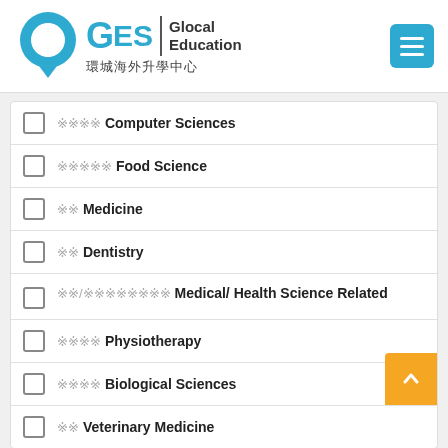[Figure (logo): GES Glocal Education logo with Chinese text 環城海外升學中心]
電腦科學 Computer Sciences
食品科學 Food Science
醫學 Medicine
牙科 Dentistry
醫學/醫療健康相關 Medical/ Health Science Related
物理治療 Physiotherapy
生物科學 Biological Sciences
獸醫 Veterinary Medicine